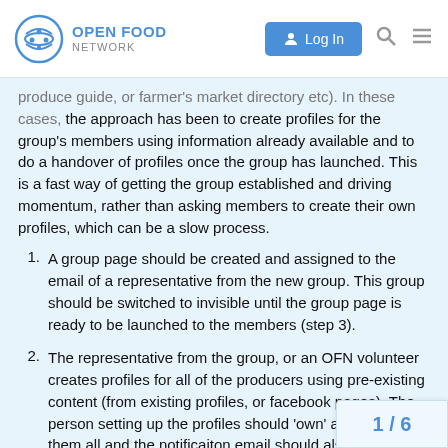Open Food Network — Log In
produce guide, or farmer's market directory etc). In these cases, the approach has been to create profiles for the group's members using information already available and to do a handover of profiles once the group has launched. This is a fast way of getting the group established and driving momentum, rather than asking members to create their own profiles, which can be a slow process.
A group page should be created and assigned to the email of a representative from the new group. This group should be switched to invisible until the group page is ready to be launched to the members (step 3).
The representative from the group, or an OFN volunteer creates profiles for all of the producers using pre-existing content (from existing profiles, or facebook pages). The person setting up the profiles should 'own' and 'manage' them all and the notificaiton email should also be theirs. The 'display only' contact email can b… actual email (no notification will be se…